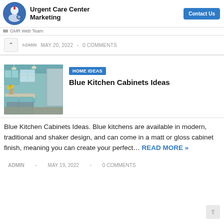Urgent Care Center Marketing
GMR Web Team
MAY 20, 2022 • 0 COMMENTS
[Figure (photo): Blue kitchen with teal cabinets, pendant lights, island counter, and yellow flowers]
HOME IDEAS
Blue Kitchen Cabinets Ideas
Blue Kitchen Cabinets Ideas. Blue kitchens are available in modern, traditional and shaker design, and can come in a matt or gloss cabinet finish, meaning you can create your perfect… READ MORE »
ADMIN • MAY 19, 2022 • 0 COMMENTS